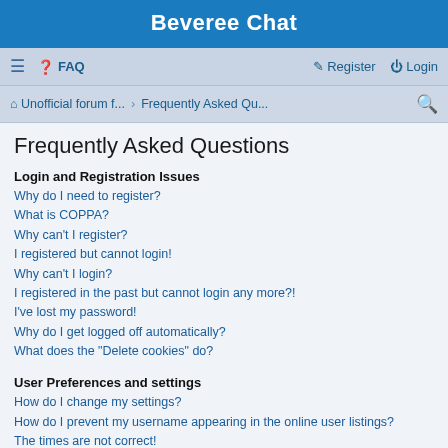Beveree Chat
≡  FAQ    Register  Login
Unofficial forum f... › Frequently Asked Qu...
Frequently Asked Questions
Login and Registration Issues
Why do I need to register?
What is COPPA?
Why can't I register?
I registered but cannot login!
Why can't I login?
I registered in the past but cannot login any more?!
I've lost my password!
Why do I get logged off automatically?
What does the "Delete cookies" do?
User Preferences and settings
How do I change my settings?
How do I prevent my username appearing in the online user listings?
The times are not correct!
I changed the timezone and the time is still wrong!
My language is not in the list!
What are the images next to my username?